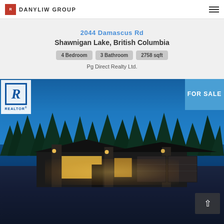DANYLIW GROUP
2044 Damascus Rd
Shawnigan Lake, British Columbia
4 Bedroom   3 Bathroom   2758 sqft
Pg Direct Realty Ltd.
[Figure (photo): Exterior night photo of a modern single-storey house with stone accents, warm interior lighting, dark roof, and a two-car garage, surrounded by trees against a blue dusk sky. REALTOR badge overlay top-left, FOR SALE badge top-right.]